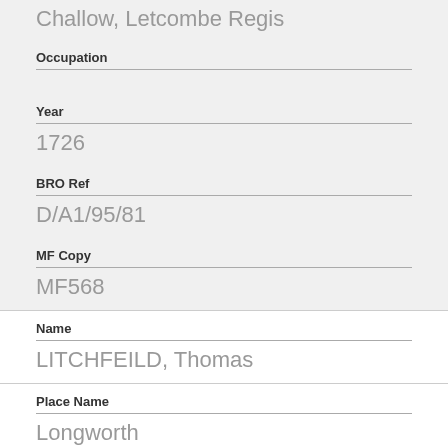Challow, Letcombe Regis
Occupation
Year
1726
BRO Ref
D/A1/95/81
MF Copy
MF568
Name
LITCHFEILD, Thomas
Place Name
Longworth
Occupation